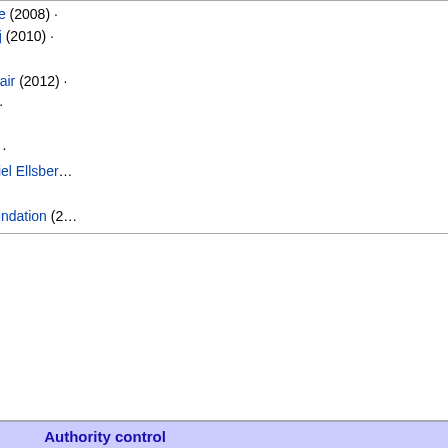Parvin Ardalan (2007) · Denis Mukwege (2008) · Carsten Jensen (2009) · Eyad al-Sarraj (2010) · Lydia Cacho, Roberto Saviano (2011) · Radhia Nasraoui, Waleed Sami Abulkhair (2012) · Rosa Taikon (2013) · Xu Youyu (2014) · Gideon Levy, Mitri Raheb (2015) · Spyridon Galinos, Giusi Nicolini (2016) · Hédi Fried, Emerich Roth (2017) · Daniel Ellsberg · John le Carré (2019) · Black Lives Matter Global Network Foundation (2…)
|  | Authority control |
| --- | --- |
| General | ISNI (1) · VIAF… |
| National libraries | Norway · France · Israel · United… · Czech Republic… · Poland |
| Biographical dictionaries | Germany |
| Other | Faceted Applicat… · RERO (Switzer… · SUDOC (France… |
Categories: 1952 births